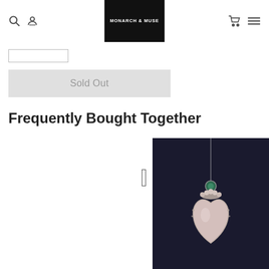MONARCH & MUSE
Sold Out
Frequently Bought Together
[Figure (photo): Heart-shaped pendant necklace with rose quartz stone and green gemstone accent on dark background]